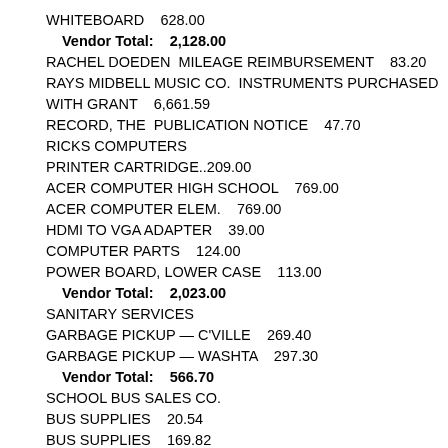WHITEBOARD    628.00
Vendor Total:    2,128.00
RACHEL DOEDEN  MILEAGE REIMBURSEMENT    83.20
RAYS MIDBELL MUSIC CO.  INSTRUMENTS PURCHASED WITH GRANT    6,661.59
RECORD, THE  PUBLICATION NOTICE    47.70
RICKS COMPUTERS
PRINTER CARTRIDGE..209.00
ACER COMPUTER HIGH SCHOOL    769.00
ACER COMPUTER ELEM.    769.00
HDMI TO VGA ADAPTER    39.00
COMPUTER PARTS    124.00
POWER BOARD, LOWER CASE    113.00
Vendor Total:    2,023.00
SANITARY SERVICES
GARBAGE PICKUP — C'VILLE    269.40
GARBAGE PICKUP — WASHTA    297.30
Vendor Total:    566.70
SCHOOL BUS SALES CO.
BUS SUPPLIES    20.54
BUS SUPPLIES    169.82
BUS SUPPLIES    189.07